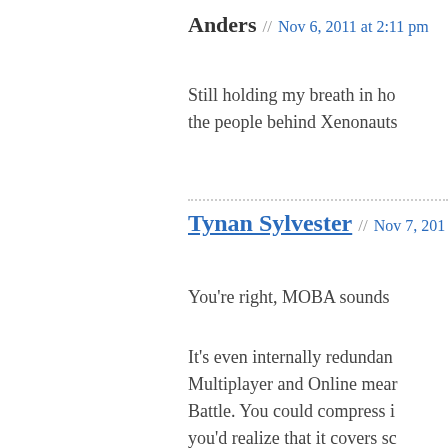Anders // Nov 6, 2011 at 2:11 pm
Still holding my breath in ho the people behind Xenonauts
Tynan Sylvester // Nov 7, 201
You're right, MOBA sounds
It's even internally redundan Multiplayer and Online mear Battle. You could compress i you'd realize that it covers sc It's like bad student writing 1
I thought this genre was calle related them to RTS games, c infuriating.